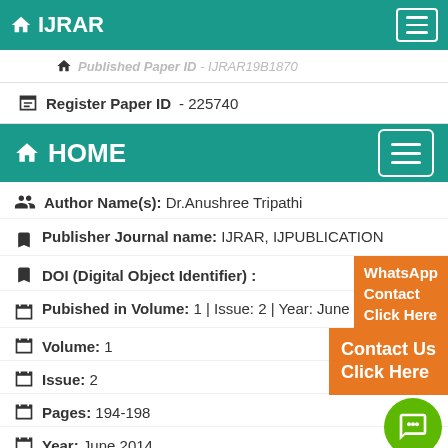IJRAR
Published Paper ID - IJRAR19B1870
Register Paper ID - 225740
HOME
Author Name(s): Dr.Anushree Tripathi
Publisher Journal name: IJRAR, IJPUBLICATION
DOI (Digital Object Identifier) :
Pubished in Volume: 1 | Issue: 2 | Year: June 2014
Volume: 1
Issue: 2
Pages: 194-198
Year: June 2014
Subject Area: Science & Technology